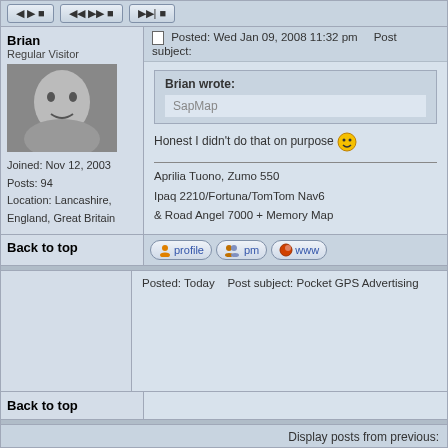Posted: Wed Jan 09, 2008 11:32 pm   Post subject:
Brian wrote:
SapMap
Honest I didn't do that on purpose 😄
Aprilia Tuono, Zumo 550
Ipaq 2210/Fortuna/TomTom Nav6
& Road Angel 7000 + Memory Map
Back to top
Posted: Today   Post subject: Pocket GPS Advertising
Back to top
Display posts from previous: